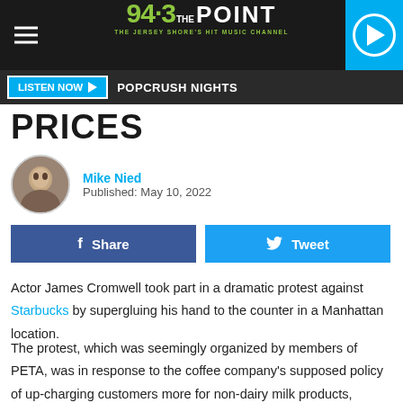94.3 THE POINT — THE JERSEY SHORE'S HIT MUSIC CHANNEL
LISTEN NOW ▶  POPCRUSH NIGHTS
PRICES
Mike Nied
Published: May 10, 2022
Share   Tweet
Actor James Cromwell took part in a dramatic protest against Starbucks by supergluing his hand to the counter in a Manhattan location.
The protest, which was seemingly organized by members of PETA, was in response to the coffee company's supposed policy of up-charging customers more for non-dairy milk products, according to Page Six.